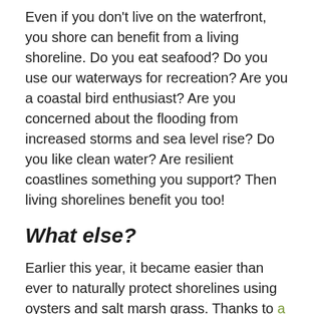Even if you don't live on the waterfront, you shore can benefit from a living shoreline. Do you eat seafood? Do you use our waterways for recreation? Are you a coastal bird enthusiast? Are you concerned about the flooding from increased storms and sea level rise? Do you like clean water? Are resilient coastlines something you support? Then living shorelines benefit you too!
What else?
Earlier this year, it became easier than ever to naturally protect shorelines using oysters and salt marsh grass. Thanks to a new South Carolina Department of Health and Environmental Control permit, residential and